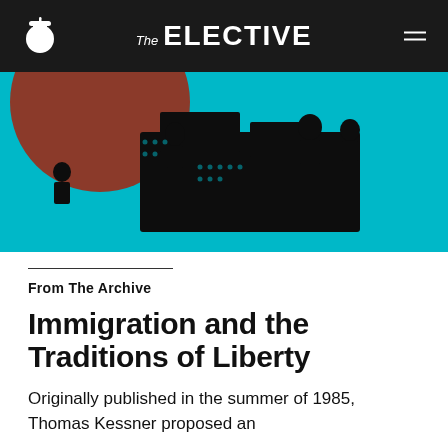The ELECTIVE
[Figure (illustration): Pop-art style illustration with cyan/teal background showing silhouetted figures on what appears to be a ship or boat, with a large brown/rust colored circular shape in the upper left]
From The Archive
Immigration and the Traditions of Liberty
Originally published in the summer of 1985, Thomas Kessner proposed an